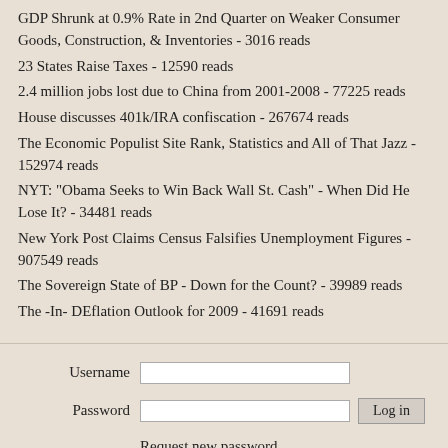GDP Shrunk at 0.9% Rate in 2nd Quarter on Weaker Consumer Goods, Construction, & Inventories - 3016 reads
23 States Raise Taxes - 12590 reads
2.4 million jobs lost due to China from 2001-2008 - 77225 reads
House discusses 401k/IRA confiscation - 267674 reads
The Economic Populist Site Rank, Statistics and All of That Jazz - 152974 reads
NYT: "Obama Seeks to Win Back Wall St. Cash" - When Did He Lose It? - 34481 reads
New York Post Claims Census Falsifies Unemployment Figures - 907549 reads
The Sovereign State of BP - Down for the Count? - 39989 reads
The -In- DEflation Outlook for 2009 - 41691 reads